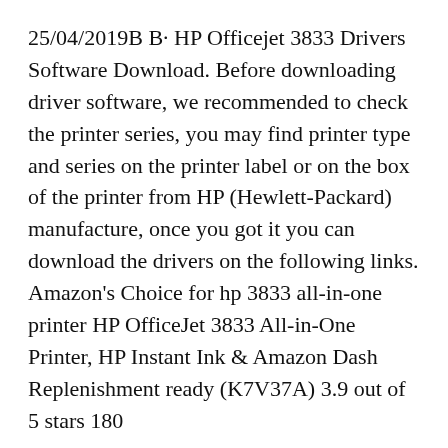25/04/2019B B· HP Officejet 3833 Drivers Software Download. Before downloading driver software, we recommended to check the printer series, you may find printer type and series on the printer label or on the box of the printer from HP (Hewlett-Packard) manufacture, once you got it you can download the drivers on the following links. Amazon's Choice for hp 3833 all-in-one printer HP OfficeJet 3833 All-in-One Printer, HP Instant Ink & Amazon Dash Replenishment ready (K7V37A) 3.9 out of 5 stars 180
Before downloading the Manual or driver for the HP Officejet 3833, be sure to check the printer series, you can find the type or series of printers on the printer label or on the box of the printer from